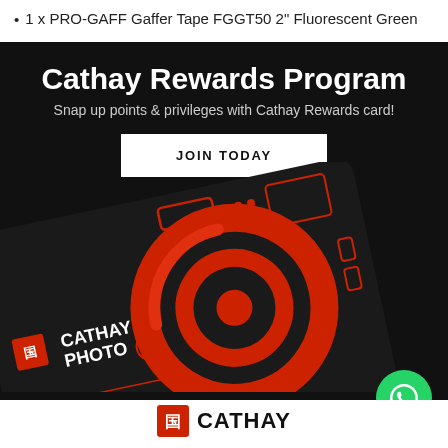1 x PRO-GAFF Gaffer Tape FGGT50 2" Fluorescent Green
[Figure (infographic): Cathay Rewards Program promotional banner on dark background with Cathay Photo loyalty card image, JOIN TODAY button, WhatsApp icon, and Cathay logo at bottom.]